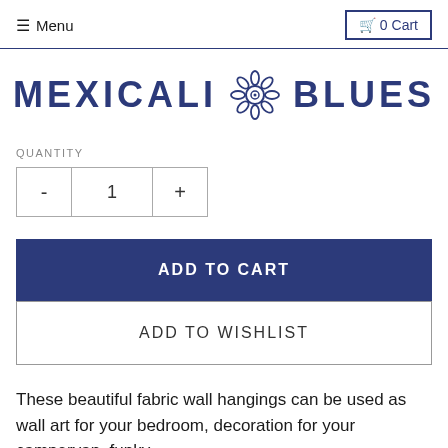≡ Menu   🛒 0 Cart
[Figure (logo): Mexicali Blues logo with decorative flower/sun graphic between the two words, in dark navy blue]
QUANTITY
- 1 +
ADD TO CART
ADD TO WISHLIST
These beautiful fabric wall hangings can be used as wall art for your bedroom, decoration for your campervan, funky